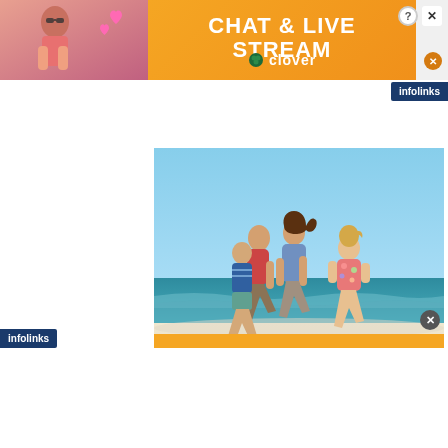[Figure (photo): Advertisement banner: woman in bikini on left with heart balloons, orange background with bold white text 'CHAT & LIVE STREAM' and Clover logo below, close and help buttons top-right]
[Figure (photo): Beach photo showing a family of four running joyfully on a sunny beach with clear blue sky and ocean in background]
[Figure (logo): Infolinks logo in dark navy blue badge, top-right corner]
[Figure (logo): Infolinks logo in dark navy blue badge, bottom-left corner]